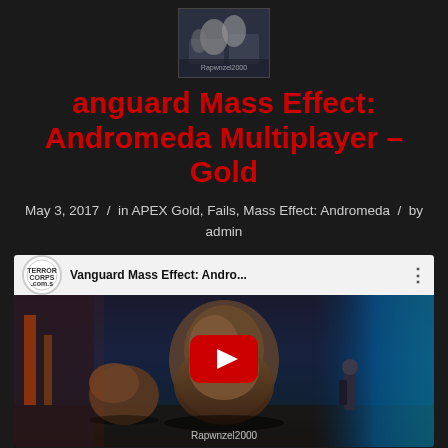[Figure (screenshot): Small thumbnail image of game screenshot at top center]
anguard Mass Effect: Andromeda Multiplayer – Gold
May 3, 2017  /  in APEX Gold, Fails, Mass Effect: Andromeda  /  by admin
[Figure (screenshot): YouTube video embed showing 'Vanguard Mass Effect: Andro...' with game scene featuring creatures and YouTube play button]